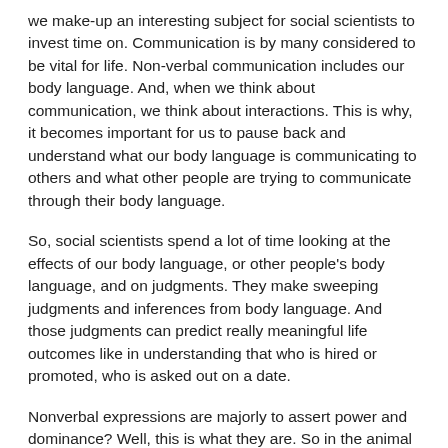we make-up an interesting subject for social scientists to invest time on. Communication is by many considered to be vital for life. Non-verbal communication includes our body language. And, when we think about communication, we think about interactions. This is why, it becomes important for us to pause back and understand what our body language is communicating to others and what other people are trying to communicate through their body language.
So, social scientists spend a lot of time looking at the effects of our body language, or other people's body language, and on judgments. They make sweeping judgments and inferences from body language. And those judgments can predict really meaningful life outcomes like in understanding that who is hired or promoted, who is asked out on a date.
Nonverbal expressions are majorly to assert power and dominance? Well, this is what they are. So in the animal kingdom, they are about expanding. So you make yourself look big, you stretch yourself out, you take up the space, you're basically opening up. And this is true across the animal kingdom. And humans do pretty much the same thing, though with some few distinctions.